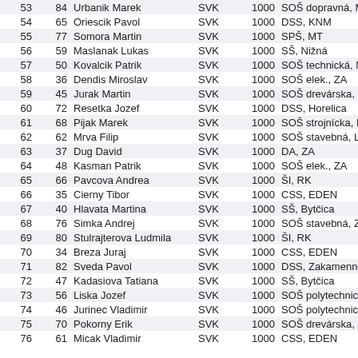| 53 | 84 | Urbanik Marek | SVK | 1000 | SOŠ dopravná, MT |
| 54 | 65 | Oriescik Pavol | SVK | 1000 | DSS, KNM |
| 55 | 77 | Somora Martin | SVK | 1000 | SPŠ, MT |
| 56 | 59 | Maslanak Lukas | SVK | 1000 | SŠ, Nižná |
| 57 | 50 | Kovalcik Patrik | SVK | 1000 | SOŠ technická, NO |
| 58 | 36 | Dendis Miroslav | SVK | 1000 | SOŠ elek., ZA |
| 59 | 45 | Jurak Martin | SVK | 1000 | SOŠ drevárska, KnK |
| 60 | 72 | Resetka Jozef | SVK | 1000 | DSS, Horelica |
| 61 | 68 | Pijak Marek | SVK | 1000 | SOŠ strojnícka, KNM |
| 62 | 62 | Mrva Filip | SVK | 1000 | SOŠ stavebná, LM |
| 63 | 37 | Dug David | SVK | 1000 | DA, ZA |
| 64 | 48 | Kasman Patrik | SVK | 1000 | SOŠ elek., ZA |
| 65 | 66 | Pavcova Andrea | SVK | 1000 | ŠI, RK |
| 66 | 35 | Cierny Tibor | SVK | 1000 | CSS, EDEN |
| 67 | 40 | Hlavata Martina | SVK | 1000 | SŠ, Bytčica |
| 68 | 76 | Simka Andrej | SVK | 1000 | SOŠ stavebná, ZA |
| 69 | 80 | Stulrajterova Ludmila | SVK | 1000 | ŠI, RK |
| 70 | 34 | Breza Juraj | SVK | 1000 | CSS, EDEN |
| 71 | 82 | Sveda Pavol | SVK | 1000 | DSS, Zakamenne |
| 72 | 47 | Kadasiova Tatiana | SVK | 1000 | SŠ, Bytčica |
| 73 | 56 | Liska Jozef | SVK | 1000 | SOŠ polytechnická, D |
| 74 | 46 | Jurinec Vladimir | SVK | 1000 | SOŠ polytechnická, D |
| 75 | 70 | Pokorny Erik | SVK | 1000 | SOŠ drevárska, KnK |
| 76 | 61 | Micak Vladimir | SVK | 1000 | CSS, EDEN |